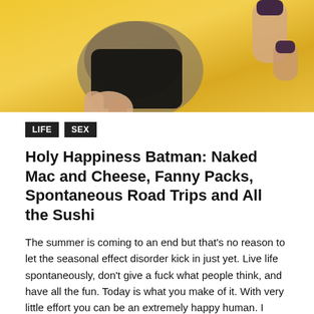[Figure (photo): Close-up photo of hands holding a phone against a yellow fabric background, with dark nail polish visible on finger]
LIFE   SEX
Holy Happiness Batman: Naked Mac and Cheese, Fanny Packs, Spontaneous Road Trips and All the Sushi
The summer is coming to an end but that's no reason to let the seasonal effect disorder kick in just yet. Live life spontaneously, don't give a fuck what people think, and have all the fun. Today is what you make of it. With very little effort you can be an extremely happy human. I woke up smiling today and you can to!
Here are some tips:
1. Say Yes to Naked Mac and Cheese!